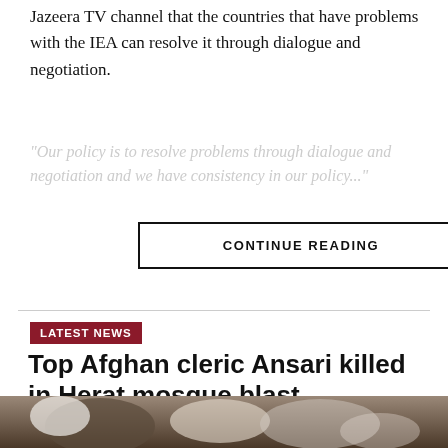Jazeera TV channel that the countries that have problems with the IEA can resolve it through dialogue and negotiation.
"Our policy is to resolve problems through dialogue and negotiation and we have consistency in our policy..."
CONTINUE READING
LATEST NEWS
Top Afghan cleric Ansari killed in Herat mosque blast
Published 14 hours ago on September 2, 2022
By Ariana News
[Figure (photo): People sitting in a mosque, seen from above, wearing traditional white and dark clothing]